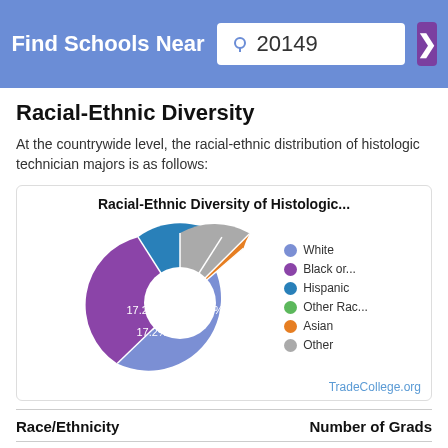Find Schools Near 20149
Racial-Ethnic Diversity
At the countrywide level, the racial-ethnic distribution of histologic technician majors is as follows:
[Figure (donut-chart): Racial-Ethnic Diversity of Histologic...]
TradeCollege.org
| Race/Ethnicity | Number of Grads |
| --- | --- |
| Asian | 8 |